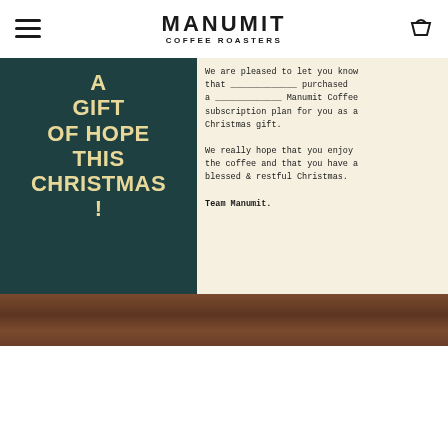MANUMIT COFFEE ROASTERS
[Figure (photo): Photo of two Manumit Coffee Roasters Christmas gift cards on a wooden surface. Left card is dark green with cream serif text reading 'A GIFT OF HOPE THIS CHRISTMAS !' and the Manumit Coffee Roasters logo. Right card is cream/ivory with typewriter-style text reading a gift message, signed 'Team Manumit.' The bottom of the right card has a dark green strip with website and social media handles: MANUMITCOFFEE.CO.UK, @MANUMITCOFFEE, #FREEDOMTHROUGHCOFFEE, plus a circular M seal.]